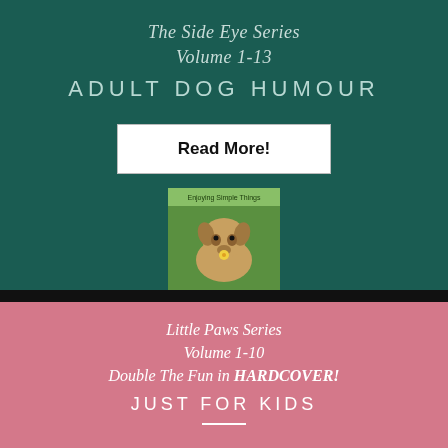The Side Eye Series
Volume 1-13
ADULT DOG HUMOUR
Read More!
[Figure (photo): Book cover showing a dog holding a yellow flower, titled 'Enjoying Simple Things', with smaller dog images at the bottom]
Little Paws Series
Volume 1-10
Double The Fun in HARDCOVER!
JUST FOR KIDS